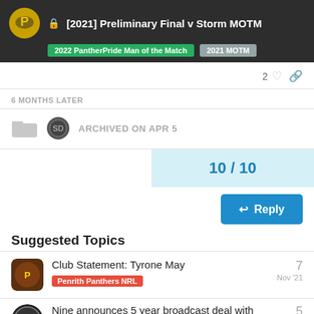[2021] Preliminary Final v Storm MOTM
2022 PantherPride Man of the Match | 2021 MOTM
2 likes
6 MONTHS LATER
ARCHIVED ON APR 5
10 / 10
Reply
Suggested Topics
Club Statement: Tyrone May
Penrith Panthers NRL
7
Nov '21
Nine announces 5 year broadcast deal with NRL
5